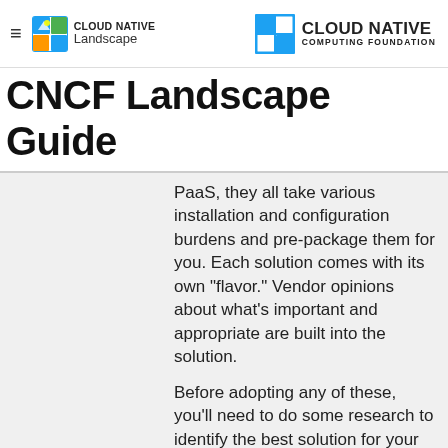Cloud Native Landscape | Cloud Native Computing Foundation
CNCF Landscape Guide
PaaS, they all take various installation and configuration burdens and pre-package them for you. Each solution comes with its own "flavor." Vendor opinions about what's important and appropriate are built into the solution.
Before adopting any of these, you'll need to do some research to identify the best solution for your particular use case. Will you likely encounter advanced Kubernetes scenarios where you'll need control over the control plane? If so, hosted